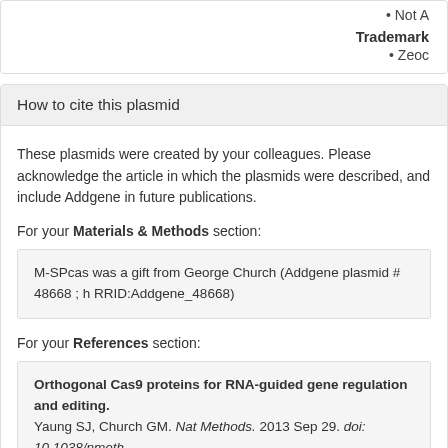Not A
Trademark
Zeoc
How to cite this plasmid
These plasmids were created by your colleagues. Please acknowledge the article in which the plasmids were described, and include Addgene in future publications.
For your Materials & Methods section:
M-SPcas was a gift from George Church (Addgene plasmid # 48668 ; h RRID:Addgene_48668)
For your References section:
Orthogonal Cas9 proteins for RNA-guided gene regulation and editing. Yaung SJ, Church GM. Nat Methods. 2013 Sep 29. doi: 10.1038/nmeth. 24076762